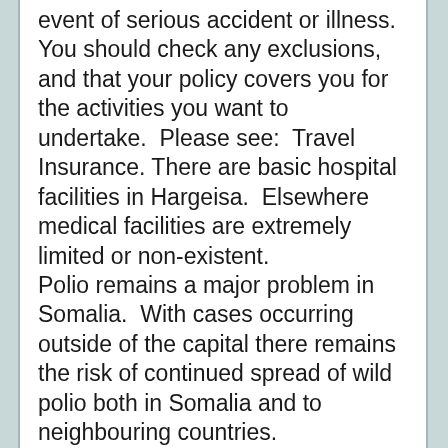event of serious accident or illness.  You should check any exclusions, and that your policy covers you for the activities you want to undertake.  Please see:  Travel Insurance. There are basic hospital facilities in Hargeisa.  Elsewhere medical facilities are extremely limited or non-existent. Polio remains a major problem in Somalia.  With cases occurring outside of the capital there remains the risk of continued spread of wild polio both in Somalia and to neighbouring countries.
If, despite our advice, you travel to Somalia, you should seek medical advice before travelling and ensure that all appropriate